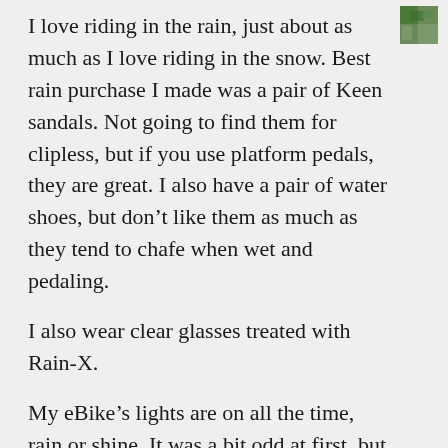[Figure (photo): Small square avatar/profile photo thumbnail in top-right corner showing a colorful outdoor scene]
I love riding in the rain, just about as much as I love riding in the snow. Best rain purchase I made was a pair of Keen sandals. Not going to find them for clipless, but if you use platform pedals, they are great. I also have a pair of water shoes, but don’t like them as much as they tend to chafe when wet and pedaling.
I also wear clear glasses treated with Rain-X.
My eBike’s lights are on all the time, rain or shine. It was a bit odd at first, but I’ve learned to enjoy the benefits cars with daytime running lights have.